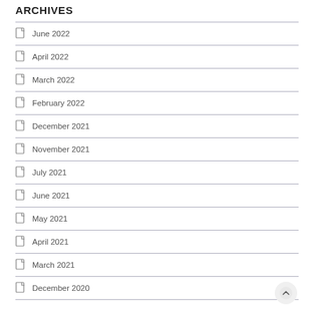ARCHIVES
June 2022
April 2022
March 2022
February 2022
December 2021
November 2021
July 2021
June 2021
May 2021
April 2021
March 2021
December 2020